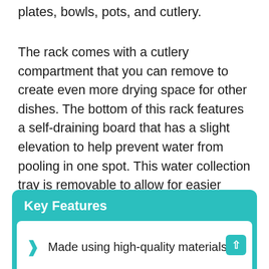plates, bowls, pots, and cutlery.
The rack comes with a cutlery compartment that you can remove to create even more drying space for other dishes. The bottom of this rack features a self-draining board that has a slight elevation to help prevent water from pooling in one spot. This water collection tray is removable to allow for easier cleaning. This unit is easy to assemble and disassemble for cleaning by hand. The product comes with a 1-year warranty.
Key Features
Made using high-quality materials